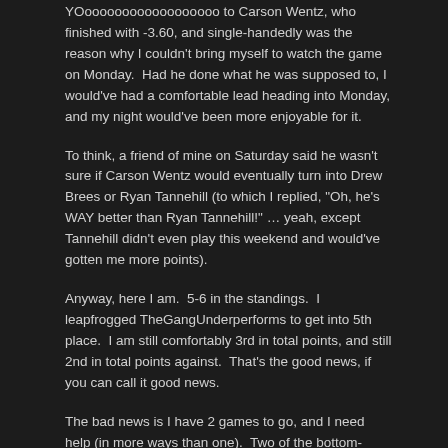YOoooooooooooooooooo to Carson Wentz, who finished with -3.60, and single-handedly was the reason why I couldn't bring myself to watch the game on Monday.  Had he done what he was supposed to, I would've had a comfortable lead heading into Monday, and my night would've been more enjoyable for it.
To think, a friend of mine on Saturday said he wasn't sure if Carson Wentz would eventually turn into Drew Brees or Ryan Tannehill (to which I replied, "Oh, he's WAY better than Ryan Tannehill!" … yeah, except Tannehill didn't even play this weekend and would've gotten me more points).
Anyway, here I am.  5-6 in the standings.  I leapfrogged TheGangUnderperforms to get into 5th place.  I am still comfortably 3rd in total points, and still 2nd in total points against.  That's the good news, if you can call it good news.
The bad news is I have 2 games to go, and I need help (in more ways than one).  Two of the bottom-feeders won last